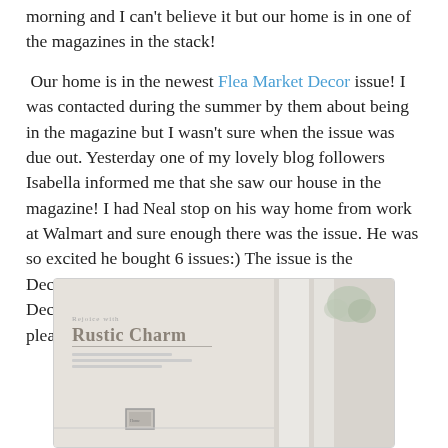morning and I can't believe it but our home is in one of the magazines in the stack!
Our home is in the newest Flea Market Decor issue! I was contacted during the summer by them about being in the magazine but I wasn't sure when the issue was due out. Yesterday one of my lovely blog followers Isabella informed me that she saw our house in the magazine! I had Neal stop on his way home from work at Walmart and sure enough there was the issue. He was so excited he bought 6 issues:) The issue is the December/January one with 321 Ideas for Holiday Decorating on the front. We are SO honored and SO pleased with the way the spread came out!
[Figure (photo): A magazine open to a page showing 'Rejoice with Rustic Charm' spread, with rustic home decor including white curtains and greenery visible in the background.]